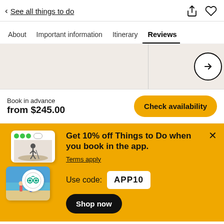< See all things to do
About | Important information | Itinerary | Reviews
[Figure (photo): Image strip with two photo panels and a right-arrow circle button]
Book in advance
from $245.00
Check availability
Get 10% off Things to Do when you book in the app.
Terms apply
Use code: APP10
Shop now